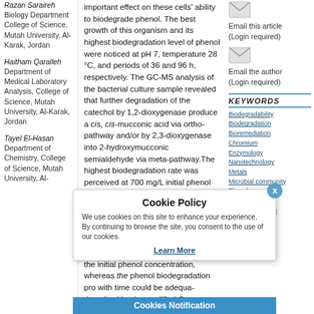Razan Saraireh Biology Department College of Science, Mutah University, Al-Karak, Jordan
Haitham Qaralleh Department of Medical Laboratory Analysis, College of Science, Mutah University, Al-Karak, Jordan
Tayel El-Hasan Department of Chemistry, College of Science, Mutah University, Al-
important effect on these cells' ability to biodegrade phenol. The best growth of this organism and its highest biodegradation level of phenol were noticed at pH 7, temperature 28 °C, and periods of 36 and 96 h, respectively. The GC-MS analysis of the bacterial culture sample revealed that further degradation of the catechol by 1,2-dioxygenase produce a cis, cis-mucconic acid via ortho-pathway and/or by 2,3-dioxygenase into 2-hydroxymucconic semialdehyde via meta-pathway. The highest biodegradation rate was perceived at 700 mg/L initial phenol concentration. Approximately 90% of the phenol (700 mg / L) was removed in less than 96 hours of incubation time. It was found that the Haldane model best fitted the relationship between the specific growth rate and the initial phenol concentration, whereas the phenol biodegradation pro- with time could be adequa- described by the modified Gompertz model. The obta- parameters from the Halde- equation are: 1.05 h⁻¹, 9.1 and 329 ppm for Haldane's maximum specific growth rate, the half-saturation coefficient, a- the Haldane's growth kinetics
[Figure (other): Email envelope icon]
Email this article (Login required)
[Figure (other): Email envelope icon]
Email the author (Login required)
KEYWORDS
Biodegradability
Biodegradation
Bioremediation
Chromium
Enzymology
Nanotechnology
Metals
Microbial community
Phenol
Plasma
phytoremediation
Cookie Policy
We use cookies on this site to enhance your experience. By continuing to browse the site, you consent to the use of our cookies.
Learn More
Cookies Notification